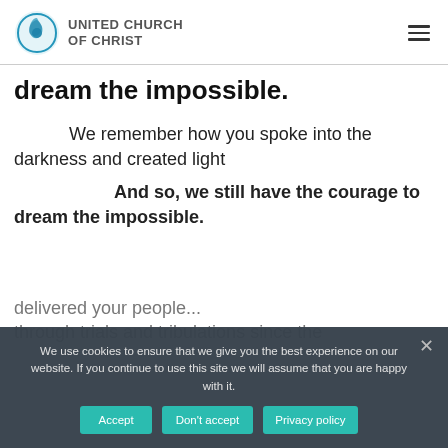UNITED CHURCH OF CHRIST
dream the impossible.
We remember how you spoke into the darkness and created light
And so, we still have the courage to dream the impossible.
delivered your people...
through trials and tribulations since the
We use cookies to ensure that we give you the best experience on our website. If you continue to use this site we will assume that you are happy with it.